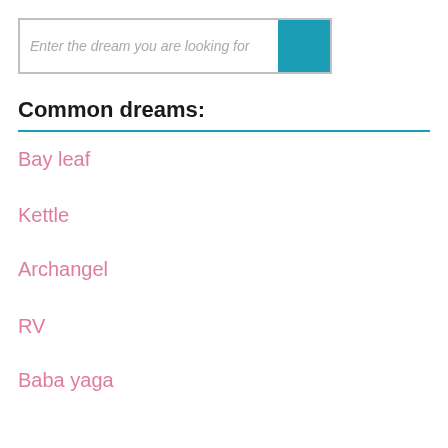Enter the dream you are looking for
Common dreams:
Bay leaf
Kettle
Archangel
RV
Baba yaga
More dreams interpretation:
Handkerchief
Gastronomy
Gym